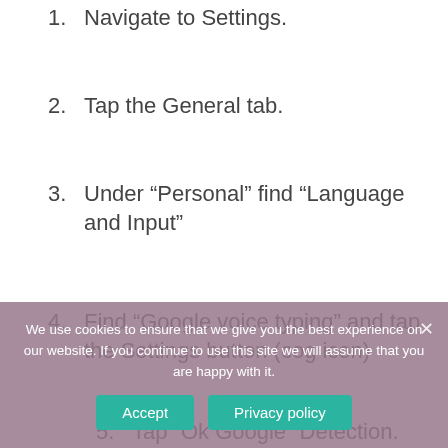1. Navigate to Settings.
2. Tap the General tab.
3. Under “Personal” find “Language and Input”
4. Find “Google voice typing” and tap the Settings button (cog icon)
5. Tap “Ok Google” Detection.
6. Under the “From the Google app” option
We use cookies to ensure that we give you the best experience on our website. If you continue to use this site we will assume that you are happy with it.